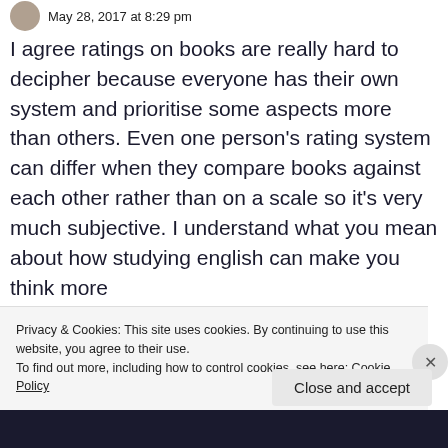May 28, 2017 at 8:29 pm
I agree ratings on books are really hard to decipher because everyone has their own system and prioritise some aspects more than others. Even one person's rating system can differ when they compare books against each other rather than on a scale so it's very much subjective. I understand what you mean about how studying english can make you think more
Privacy & Cookies: This site uses cookies. By continuing to use this website, you agree to their use.
To find out more, including how to control cookies, see here: Cookie Policy